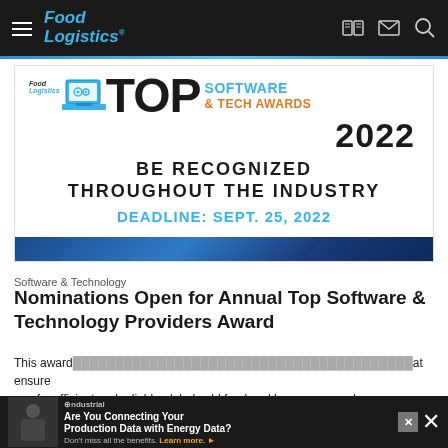Food Logistics
[Figure (illustration): Food Logistics Top Software & Tech Awards 2022 promotional banner. Shows the Food Logistics logo, laptop icon with gears, large 'TOP' text, 'SOFTWARE & TECH AWARDS' in blue and orange text, '2022' in bold black, 'BE RECOGNIZED THROUGHOUT THE INDUSTRY' in large bold black text, 'DEADLINE: SEPT. 25, 2022' in blue, and blue gradient footer strip.]
Software & Technology
Nominations Open for Annual Top Software & Technology Providers Award
This award... that ensure a safe, efficient and reliable global cold food and beverage supply